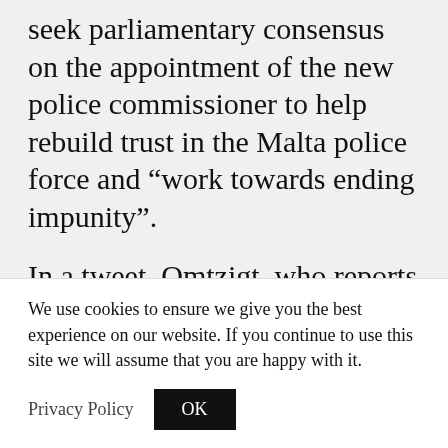seek parliamentary consensus on the appointment of the new police commissioner to help rebuild trust in the Malta police force and “work towards ending impunity”.
In a tweet, Omtzigt, who reports back to the Parliamentary Assembly of the Council of Europe, pointed out that “recent scandals have battered the reputation of Malta’s police force, from
We use cookies to ensure we give you the best experience on our website. If you continue to use this site we will assume that you are happy with it.
Privacy Policy
OK